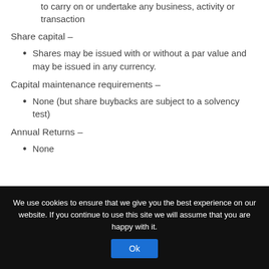to carry on or undertake any business, activity or transaction
Share capital –
Shares may be issued with or without a par value and may be issued in any currency.
Capital maintenance requirements –
None (but share buybacks are subject to a solvency test)
Annual Returns –
None
We use cookies to ensure that we give you the best experience on our website. If you continue to use this site we will assume that you are happy with it.